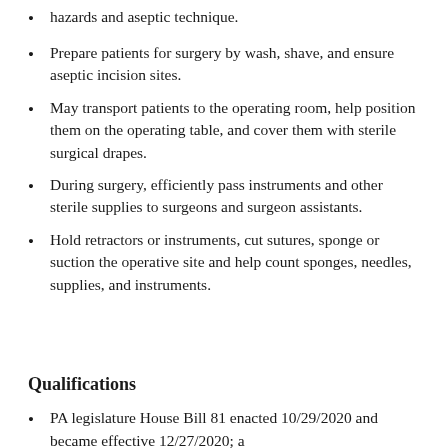hazards and aseptic technique.
Prepare patients for surgery by wash, shave, and ensure aseptic incision sites.
May transport patients to the operating room, help position them on the operating table, and cover them with sterile surgical drapes.
During surgery, efficiently pass instruments and other sterile supplies to surgeons and surgeon assistants.
Hold retractors or instruments, cut sutures, sponge or suction the operative site and help count sponges, needles, supplies, and instruments.
Qualifications
PA legislature House Bill 81 enacted 10/29/2020 and became effective 12/27/2020; a